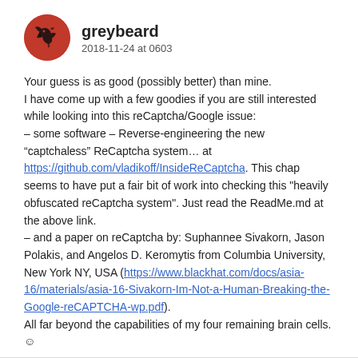greybeard
2018-11-24 at 0603
Your guess is as good (possibly better) than mine.
I have come up with a few goodies if you are still interested while looking into this reCaptcha/Google issue:
– some software – Reverse-engineering the new “captchaless” ReCaptcha system… at https://github.com/vladikoff/InsideReCaptcha.
This chap seems to have put a fair bit of work into checking this "heavily obfuscated reCaptcha system". Just read the ReadMe.md at the above link.
– and a paper on reCaptcha by: Suphannee Sivakorn, Jason Polakis, and Angelos D. Keromytis from Columbia University, New York NY, USA (https://www.blackhat.com/docs/asia-16/materials/asia-16-Sivakorn-Im-Not-a-Human-Breaking-the-Google-reCAPTCHA-wp.pdf).
All far beyond the capabilities of my four remaining brain cells. ☺
Log in to Reply